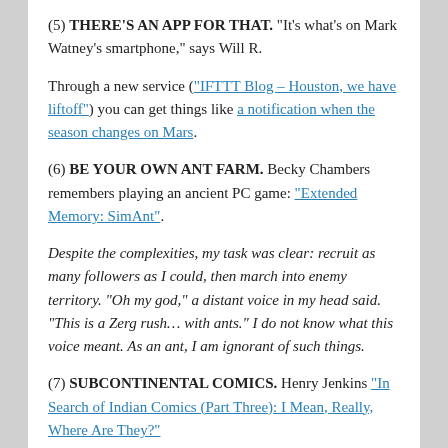(5) THERE'S AN APP FOR THAT. “It’s what’s on Mark Watney’s smartphone,” says Will R.
Through a new service (“IFTTT Blog – Houston, we have liftoff”) you can get things like a notification when the season changes on Mars.
(6) BE YOUR OWN ANT FARM. Becky Chambers remembers playing an ancient PC game: “Extended Memory: SimAnt”.
Despite the complexities, my task was clear: recruit as many followers as I could, then march into enemy territory. “Oh my god,” a distant voice in my head said. “This is a Zerg rush… with ants.” I do not know what this voice meant. As an ant, I am ignorant of such things.
(7) SUBCONTINENTAL COMICS. Henry Jenkins “In Search of Indian Comics (Part Three): I Mean, Really, Where Are They?”